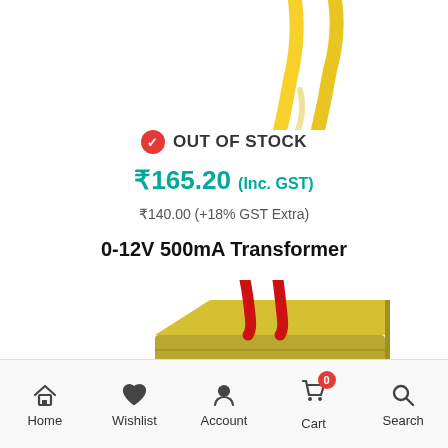[Figure (photo): Partial view of a transformer product with yellow wires visible at the top, on white background]
OUT OF STOCK
₹165.20 (Inc. GST)
₹140.00 (+18% GST Extra)
0-12V 500mA Transformer
[Figure (photo): A small gold/brass transformer with red wires coming out of the top, photographed on white background]
Home  Wishlist  Account  Cart 0  Search